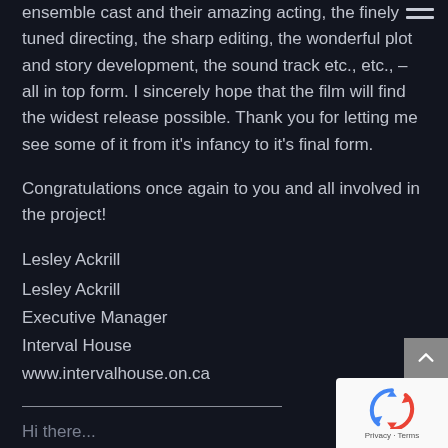ensemble cast and their amazing acting, the finely tuned directing, the sharp editing, the wonderful plot and story development, the sound track etc., etc., – all in top form. I sincerely hope that the film will find the widest release possible. Thank you for letting me see some of it from it's infancy to it's final form.
Congratulations once again to you and all involved in the project!
Lesley Ackrill
Lesley Ackrill
Executive Manager
Interval House
www.intervalhouse.on.ca
Hi there...